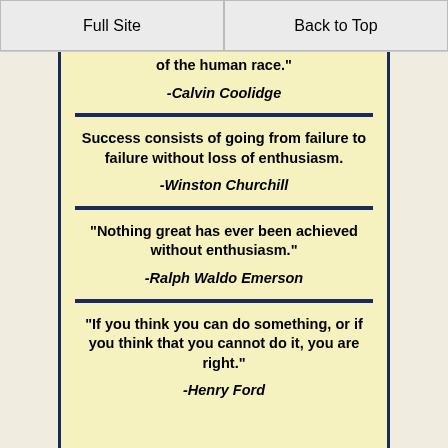Full Site | Back to Top
of the human race." -Calvin Coolidge
Success consists of going from failure to failure without loss of enthusiasm. -Winston Churchill
"Nothing great has ever been achieved without enthusiasm." -Ralph Waldo Emerson
"If you think you can do something, or if you think that you cannot do it, you are right." -Henry Ford